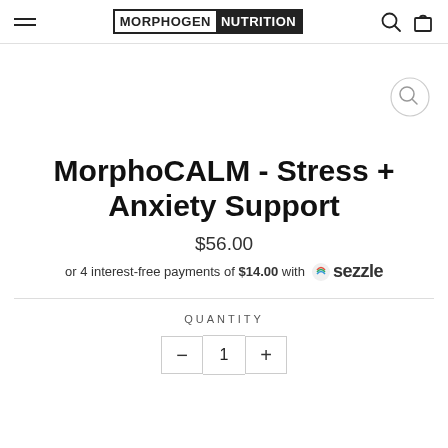MORPHOGEN NUTRITION
MorphoCALM - Stress + Anxiety Support
$56.00
or 4 interest-free payments of $14.00 with sezzle
QUANTITY
1